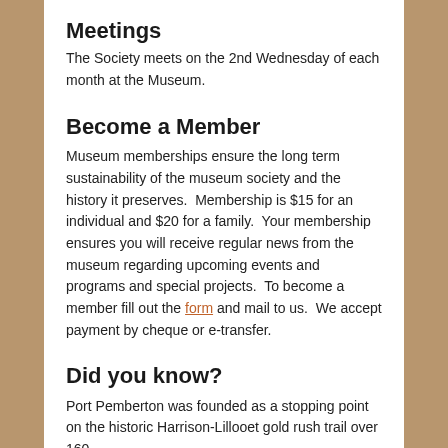Meetings
The Society meets on the 2nd Wednesday of each month at the Museum.
Become a Member
Museum memberships ensure the long term sustainability of the museum society and the history it preserves.  Membership is $15 for an individual and $20 for a family.  Your membership ensures you will receive regular news from the museum regarding upcoming events and programs and special projects.  To become a member fill out the form and mail to us.  We accept payment by cheque or e-transfer.
Did you know?
Port Pemberton was founded as a stopping point on the historic Harrison-Lillooet gold rush trail over 160